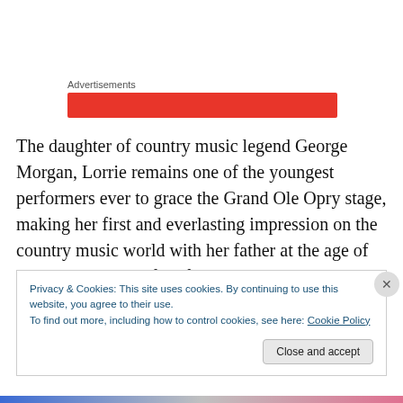Advertisements
[Figure (other): Red advertisement banner bar]
The daughter of country music legend George Morgan, Lorrie remains one of the youngest performers ever to grace the Grand Ole Opry stage, making her first and everlasting impression on the country music world with her father at the age of 13. She is also the first female country vocalist in history to achieve three consecutive RIAA-
Privacy & Cookies: This site uses cookies. By continuing to use this website, you agree to their use.
To find out more, including how to control cookies, see here: Cookie Policy
Close and accept